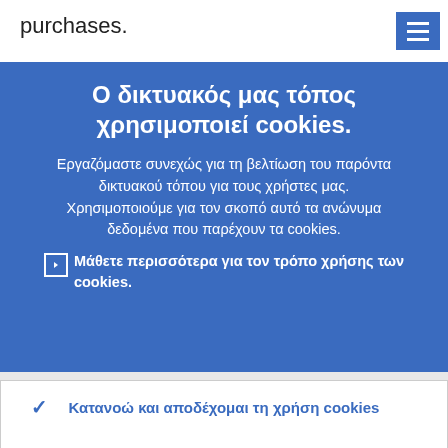purchases.
Ο δικτυακός μας τόπος χρησιμοποιεί cookies.
Εργαζόμαστε συνεχώς για τη βελτίωση του παρόντα δικτυακού τόπου για τους χρήστες μας. Χρησιμοποιούμε για τον σκοπό αυτό τα ανώνυμα δεδομένα που παρέχουν τα cookies.
Μάθετε περισσότερα για τον τρόπο χρήσης των cookies.
✓ Κατανοώ και αποδέχομαι τη χρήση cookies
✕ Δεν αποδέχομαι τη χρήση cookies